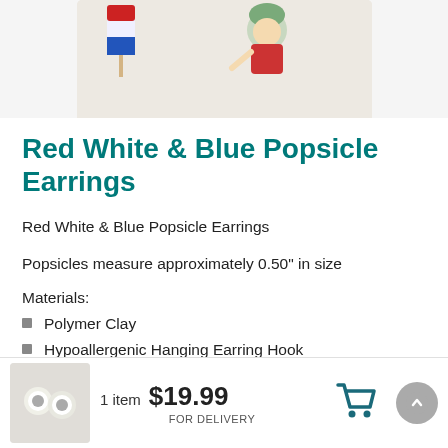[Figure (photo): Partial product photo showing a vintage-style illustration with a popsicle and child figure on a light background]
Red White & Blue Popsicle Earrings
Red White & Blue Popsicle Earrings
Popsicles measure approximately 0.50" in size
Materials:
Polymer Clay
Hypoallergenic Hanging Earring Hook
Each popsicle is handmade by me, so you may receive a pair of earrings that are slightly different from the ones pictured on the listing. As they are all by hand all are similar but no two pairs will ever be the same!
[Figure (photo): Small thumbnail of popsicle earrings product]
1 item  $19.99  FOR DELIVERY